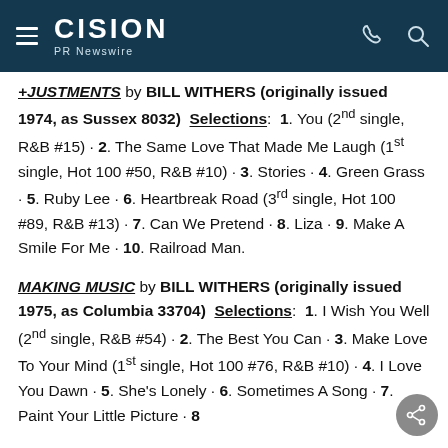CISION PR Newswire
+JUSTMENTS by BILL WITHERS (originally issued 1974, as Sussex 8032) Selections: 1. You (2nd single, R&B #15) · 2. The Same Love That Made Me Laugh (1st single, Hot 100 #50, R&B #10) · 3. Stories · 4. Green Grass · 5. Ruby Lee · 6. Heartbreak Road (3rd single, Hot 100 #89, R&B #13) · 7. Can We Pretend · 8. Liza · 9. Make A Smile For Me · 10. Railroad Man.
MAKING MUSIC by BILL WITHERS (originally issued 1975, as Columbia 33704) Selections: 1. I Wish You Well (2nd single, R&B #54) · 2. The Best You Can · 3. Make Love To Your Mind (1st single, Hot 100 #76, R&B #10) · 4. I Love You Dawn · 5. She's Lonely · 6. Sometimes A Song · 7. Paint Your Little Picture · 8.